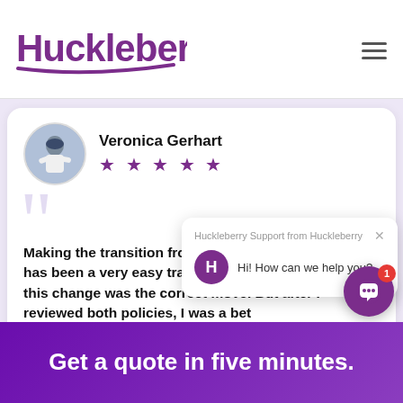[Figure (logo): Huckleberry logo in purple with stylized underline curve, and hamburger menu icon on the right]
[Figure (photo): Circular avatar photo of a baseball player (Veronica Gerhart) in white uniform on a purple-tinted background]
Veronica Gerhart
★ ★ ★ ★ ★
Making the transition from State Fund to Huckleberry has been a very easy transition. I was not too sure if this change was the correct move. But after I reviewed both policies, I was a bet
[Figure (screenshot): Chat widget popup showing 'Huckleberry Support from Huckleberry' header with X close button and message 'Hi! How can we help you?' with purple H icon circle]
Get a quote in five minutes.